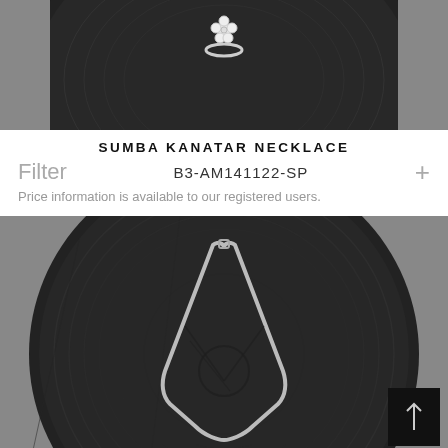[Figure (photo): Top portion of a product photo showing a silver floral ring on a dark circular wooden board, black and white / grayscale image, cropped at top]
SUMBA KANATAR NECKLACE
Filter
B3-AM141122-SP
+
Price information is available to our registered users.
[Figure (photo): Product photo of a silver snake chain necklace laid on a dark circular wooden board/stump, grayscale image. A scroll-to-top button with an upward arrow is visible in the bottom right corner of the image.]